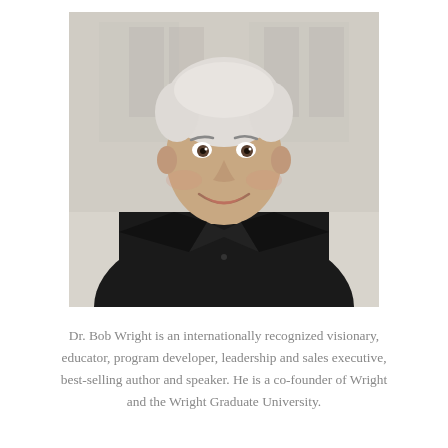[Figure (photo): Professional headshot of Dr. Bob Wright, an older gentleman with white/silver hair, smiling warmly, wearing a black blazer over a black shirt, photographed in front of a light-colored building background.]
Dr. Bob Wright is an internationally recognized visionary, educator, program developer, leadership and sales executive, best-selling author and speaker. He is a co-founder of Wright and the Wright Graduate University.